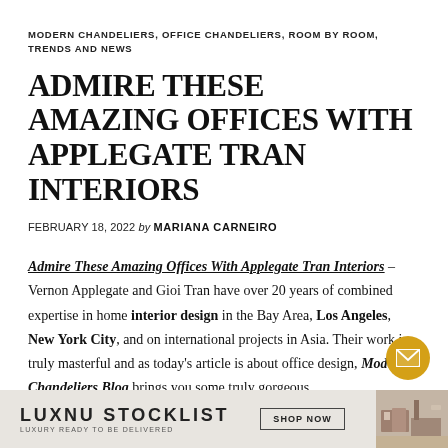MODERN CHANDELIERS, OFFICE CHANDELIERS, ROOM BY ROOM, TRENDS AND NEWS
ADMIRE THESE AMAZING OFFICES WITH APPLEGATE TRAN INTERIORS
FEBRUARY 18, 2022 by MARIANA CARNEIRO
Admire These Amazing Offices With Applegate Tran Interiors – Vernon Applegate and Gioi Tran have over 20 years of combined expertise in home interior design in the Bay Area, Los Angeles, New York City, and on international projects in Asia. Their work is truly masterful and as today's article is about office design, Modern Chandeliers Blog brings you some truly gorgeous home office ambiances by these experienced interior designers as well as
[Figure (infographic): Footer advertisement bar: LUXNU STOCKLIST luxury ready to be delivered, with SHOP NOW button and a room interior image on the right]
[Figure (other): Yellow circular email/contact button floating over the footer area]